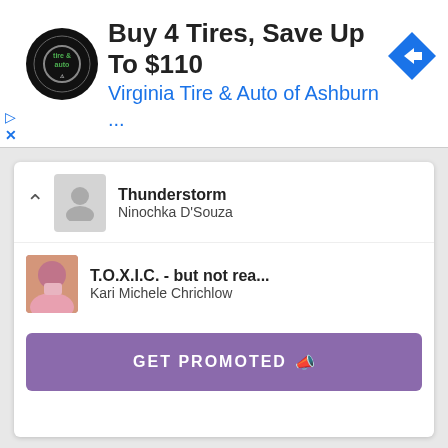[Figure (screenshot): Advertisement banner for Virginia Tire & Auto of Ashburn with logo, headline 'Buy 4 Tires, Save Up To $110', and navigation arrow icon]
Thunderstorm
Ninochka D'Souza
T.O.X.I.C. - but not rea...
Kari Michele Chrichlow
GET PROMOTED
Browse
Poetry.com
#
A
B
C
D
E